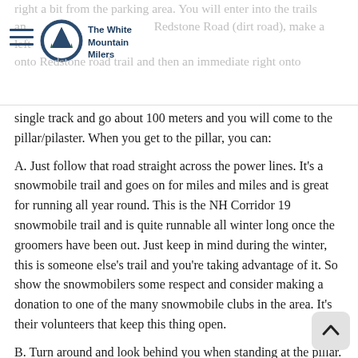right a bit from the parking area. You will enter into the trails and run up w... Redstone Road (dirt road), make a left onto Redstone road trail and then an immediate right onto
single track and go about 100 meters and you will come to the pillar/pilaster. When you get to the pillar, you can:
A. Just follow that road straight across the power lines. It’s a snowmobile trail and goes on for miles and miles and is great for running all year round. This is the NH Corridor 19 snowmobile trail and is quite runnable all winter long once the groomers have been out. Just keep in mind during the winter, this is someone else’s trail and you’re taking advantage of it. So show the snowmobilers some respect and consider making a donation to one of the many snowmobile clubs in the area. It’s their volunteers that keep this thing open.
B. Turn around and look behind you when standing at the pillar.